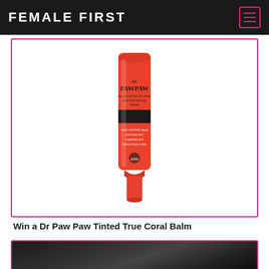FEMALE FIRST
[Figure (photo): Dr PawPaw Tinted True Coral Balm product tube in orange/red color with black label band, shown on white background inside a pink-bordered card]
Win a Dr Paw Paw Tinted True Coral Balm
[Figure (photo): Black and white photograph partially visible at the bottom of the page, dark tones, appears to be a close-up portrait or artistic photo]